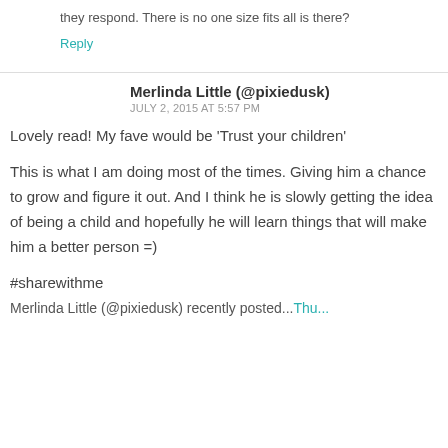they respond. There is no one size fits all is there?
Reply
Merlinda Little (@pixiedusk)
JULY 2, 2015 AT 5:57 PM
Lovely read! My fave would be ‘Trust your children’
This is what I am doing most of the times. Giving him a chance to grow and figure it out. And I think he is slowly getting the idea of being a child and hopefully he will learn things that will make him a better person =)
#sharewithme
Merlinda Little (@pixiedusk) recently posted...Thu...